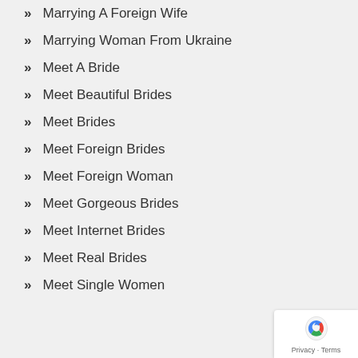Marrying A Foreign Wife
Marrying Woman From Ukraine
Meet A Bride
Meet Beautiful Brides
Meet Brides
Meet Foreign Brides
Meet Foreign Woman
Meet Gorgeous Brides
Meet Internet Brides
Meet Real Brides
Meet Single Women